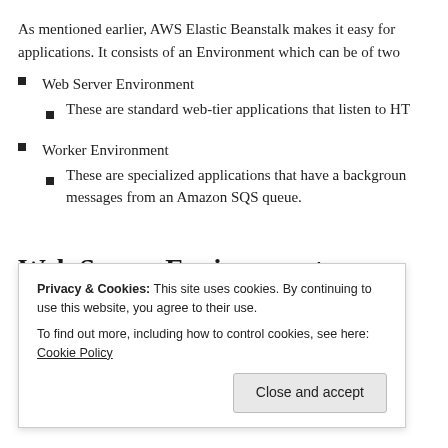As mentioned earlier, AWS Elastic Beanstalk makes it easy for applications. It consists of an Environment which can be of two
Web Server Environment
These are standard web-tier applications that listen to HT
Worker Environment
These are specialized applications that have a background messages from an Amazon SQS queue.
Web Server Environment
Privacy & Cookies: This site uses cookies. By continuing to use this website, you agree to their use.
To find out more, including how to control cookies, see here: Cookie Policy